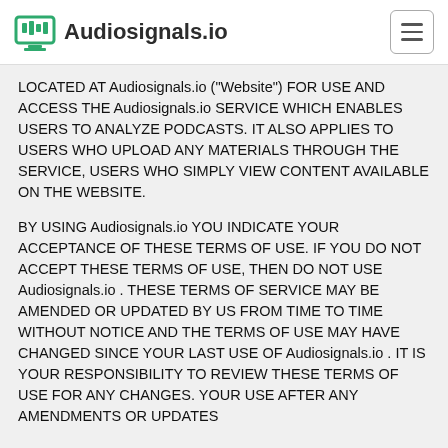Audiosignals.io
LOCATED AT Audiosignals.io ("Website") FOR USE AND ACCESS THE Audiosignals.io SERVICE WHICH ENABLES USERS TO ANALYZE PODCASTS. IT ALSO APPLIES TO USERS WHO UPLOAD ANY MATERIALS THROUGH THE SERVICE, USERS WHO SIMPLY VIEW CONTENT AVAILABLE ON THE WEBSITE.
BY USING Audiosignals.io YOU INDICATE YOUR ACCEPTANCE OF THESE TERMS OF USE. IF YOU DO NOT ACCEPT THESE TERMS OF USE, THEN DO NOT USE Audiosignals.io . THESE TERMS OF SERVICE MAY BE AMENDED OR UPDATED BY US FROM TIME TO TIME WITHOUT NOTICE AND THE TERMS OF USE MAY HAVE CHANGED SINCE YOUR LAST USE OF Audiosignals.io . IT IS YOUR RESPONSIBILITY TO REVIEW THESE TERMS OF USE FOR ANY CHANGES. YOUR USE AFTER ANY AMENDMENTS OR UPDATES